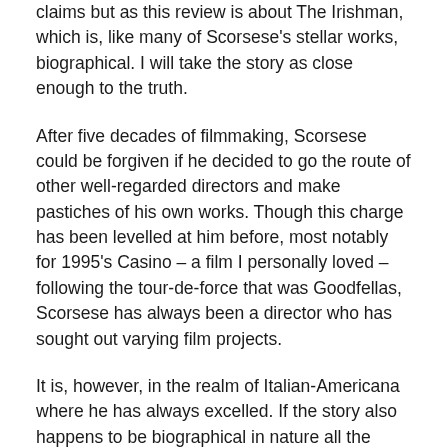claims but as this review is about The Irishman, which is, like many of Scorsese's stellar works, biographical. I will take the story as close enough to the truth.
After five decades of filmmaking, Scorsese could be forgiven if he decided to go the route of other well-regarded directors and make pastiches of his own works. Though this charge has been levelled at him before, most notably for 1995's Casino – a film I personally loved – following the tour-de-force that was Goodfellas, Scorsese has always been a director who has sought out varying film projects.
It is, however, in the realm of Italian-Americana where he has always excelled. If the story also happens to be biographical in nature all the better. From the staggeringly brilliant Raging Bull